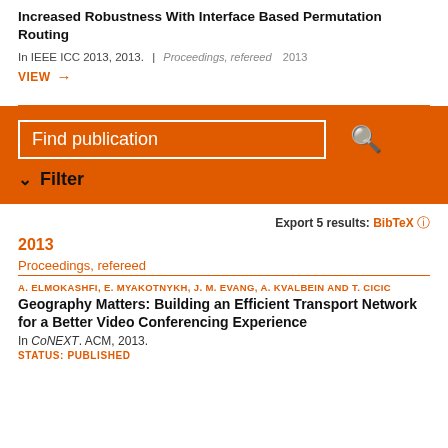Increased Robustness With Interface Based Permutation Routing
In IEEE ICC 2013, 2013. | Proceedings, refereed   2013
VIEW →
[Figure (screenshot): Search bar with orange background reading 'Find publication' and a search icon, with a Filter option below]
Export 5 results:  BibTeX
2013
Proceedings, refereed
A. ELMOKASHR, E. MYAKOTNYKH, J. M. EVANG, A. KVALBEIN AND T. CICIC
Geography Matters: Building an Efficient Transport Network for a Better Video Conferencing Experience
In CoNEXT. ACM, 2013.
STATUS: PUBLISHED